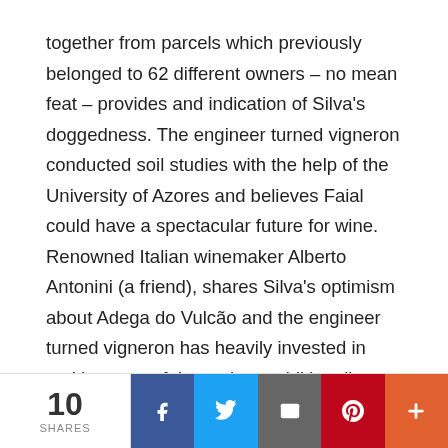together from parcels which previously belonged to 62 different owners – no mean feat – provides and indication of Silva's doggedness.  The engineer turned vigneron conducted soil studies with the help of the University of Azores and believes Faial could have a spectacular future for wine. Renowned Italian winemaker Alberto Antonini (a friend), shares Silva's optimism about Adega do Vulcão and the engineer turned vigneron has heavily invested in making a go of the project, additionally working with 3 hectares on Pico.  He is keen to buy old vineyards there.
The wines are very different from those made by the Azores Wine Company.  More shapely/textural, less racy – 'slow wines,' if you like, that take their time, but leave a
10 SHARES | Facebook | Twitter | Email | Pinterest | More